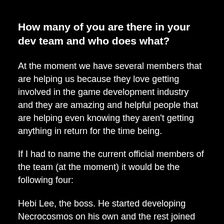How many of you are there in your dev team and who does what?
At the moment we have several members that are helping us because they love getting involved in the game development industry and they are amazing and helpful people that are helping even knowing they aren't getting anything in return for the time being.
If I had to name the current official members of the team (at the moment) it would be the following four:
Hebi Lee, the boss. He started developing Necrocosmos on his own and the rest joined slowly to help as the interest for the game grew on us.